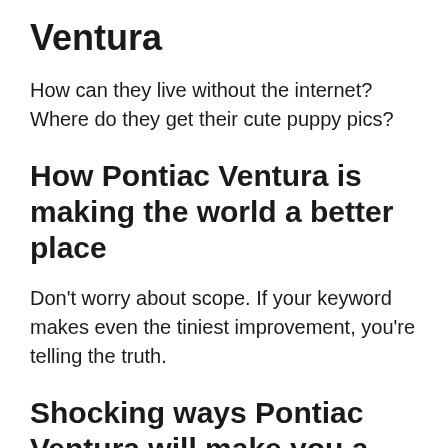Ventura
How can they live without the internet? Where do they get their cute puppy pics?
How Pontiac Ventura is making the world a better place
Don't worry about scope. If your keyword makes even the tiniest improvement, you're telling the truth.
Shocking ways Pontiac Ventura will make you a